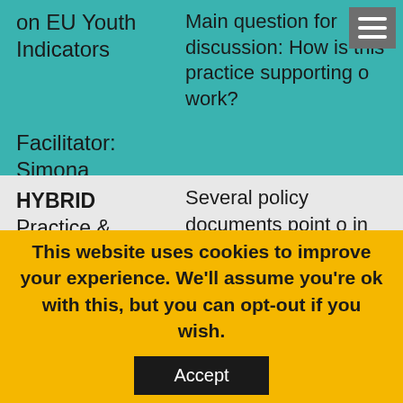on EU Youth Indicators
Main question for discussion: How is this practice supporting our work?
Facilitator: Simona Mursec
HYBRID Practice & Reflection Forum, round 4: Building resources for supporting innovation and
Several policy documents point out in the field of Youth. This is one specifically adapted for the youth workers and organisations
This website uses cookies to improve your experience. We'll assume you're ok with this, but you can opt-out if you wish.
Accept